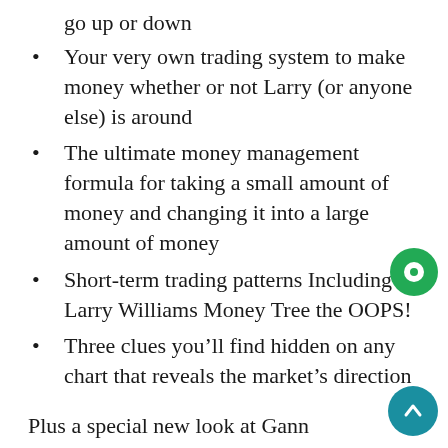go up or down
Your very own trading system to make money whether or not Larry (or anyone else) is around
The ultimate money management formula for taking a small amount of money and changing it into a large amount of money
Short-term trading patterns Including Larry Williams Money Tree the OOPS!
Three clues you’ll find hidden on any chart that reveals the market’s direction
Plus a special new look at Gann